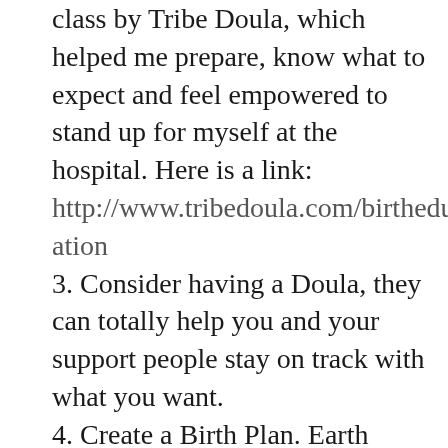class by Tribe Doula, which helped me prepare, know what to expect and feel empowered to stand up for myself at the hospital. Here is a link: http://www.tribedoula.com/birtheducation
3. Consider having a Doula, they can totally help you and your support people stay on track with what you want.
4. Create a Birth Plan. Earth Mama Organics offers a free birth plan here: https://earthmamaorganics.com/free-birth-plan
5. Take the hospital/labor and delivery unit tour and ask all your questions there. I found out I could bring my birthing ball and all my natural birthing media during